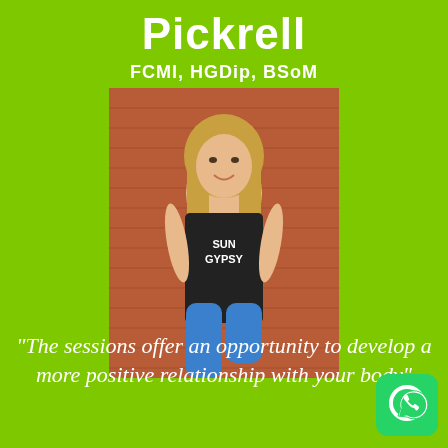Pickrell
FCMI, HGDip, BSoM
[Figure (photo): Young woman with long blonde hair, wearing a black 'SUN GYPSY' tank top and bright blue leggings, leaning against a red brick wall, smiling]
"The sessions offer an opportunity to develop a more positive relationship with your body"
[Figure (logo): WhatsApp logo — green rounded square with white phone/chat icon]